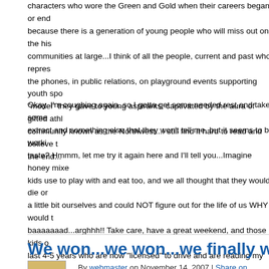characters who wore the Green and Gold when their careers began or end because there is a generation of young people who will miss out on the his communities at large...I think of all the people, current and past who repres the phones, in public relations, on playground events supporting youth spo "model" they gave to young aspirants, captivated by the aura of gifted athl community known as the Northwest...I still find it hard to read and believe t the end...
Okay, I'm coughing again, so I gotta get some needed rest and take some extract and something else that they won't tell me, but it seems to be worki taste? Hmmm, let me try it again here and I'll tell you...Imagine honey mixe kids use to play with and eat too, and we all thought that they would die or a little bit ourselves and could NOT figure out for the life of us WHY would t baaaaaaad...arghhh!! Take care, have a great weekend, and those kids o last 4-5 years who are now "licensed" to drive and are reading my blogs: D importantly drive with a purpose (visualize where you're going, how your ge might be jam somewhere along the way, so relax, the Pizza won't go cold a Bless...Coach tom
We won...we won...we finally won a road g
By webmaster on November 14, 2007 | Share on Facebook | Comments?
November 15, 2007...airborne on way to play the #1 team, Bayi Red Star A play as a T-E-A-M...and on the long road no less...What was the "spark" fo meeting the night before where Coach Gao and his Staff, plus the GM, sha